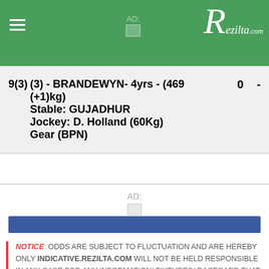Rezilta.com
9(3)  (3) - BRANDEWYN- 4yrs - (469 (+1)kg)  0  -
Stable: GUJADHUR
Jockey: D. Holland (60Kg)
Gear (BPN)
AD:
NOTICE: ODDS ARE SUBJECT TO FLUCTUATION AND ARE HEREBY ONLY INDICATIVE.REZILTA.COM WILL NOT BE HELD RESPONSIBLE IN ANY CASE FOR ANY INFORMATION/ FIXTURES/ RACECARD THAT HAS BEEN WRONGLY PUBLISHED ON THIS WEB SITE. YOU SHOULD CONSULT THE OFFICIAL ODDS/ FIXTURES/